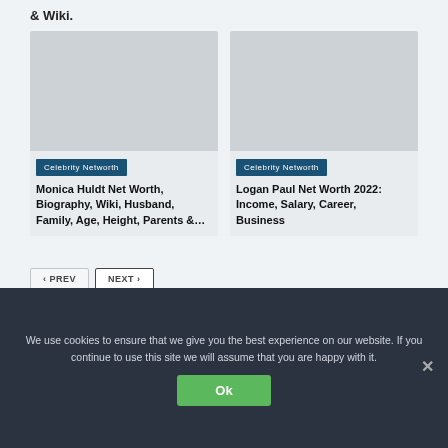& Wiki.
[Figure (photo): Placeholder image for Monica Huldt article]
Celebrity Networth
Monica Huldt Net Worth, Biography, Wiki, Husband, Family, Age, Height, Parents &…
[Figure (photo): Placeholder image for Logan Paul article]
Celebrity Networth
Logan Paul Net Worth 2022: Income, Salary, Career, Business
< PREV
NEXT >
We use cookies to ensure that we give you the best experience on our website. If you continue to use this site we will assume that you are happy with it.